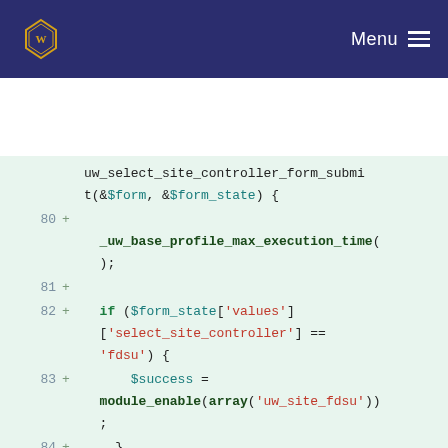Menu
[Figure (screenshot): University of Waterloo logo in navigation bar]
Code diff showing PHP function uw_select_site_controller_form_submit with additions including _uw_base_profile_max_execution_time(), if conditions checking $form_state['values']['select_site_controller'] == 'fdsu' and 'main', with module_enable calls.